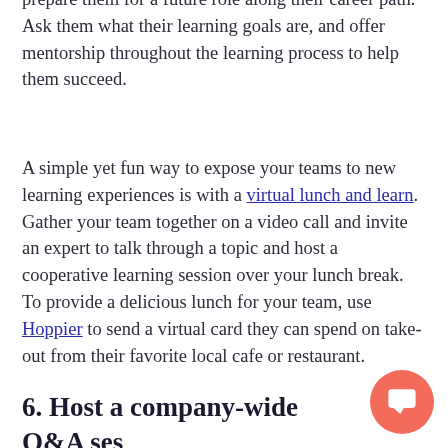prepare them for a future role along their career path. Ask them what their learning goals are, and offer mentorship throughout the learning process to help them succeed.
A simple yet fun way to expose your teams to new learning experiences is with a virtual lunch and learn. Gather your team together on a video call and invite an expert to talk through a topic and host a cooperative learning session over your lunch break. To provide a delicious lunch for your team, use Hoppier to send a virtual card they can spend on take-out from their favorite local cafe or restaurant.
6. Host a company-wide Q&A ses...